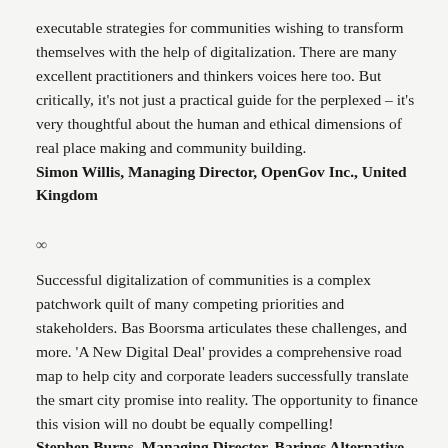executable strategies for communities wishing to transform themselves with the help of digitalization. There are many excellent practitioners and thinkers voices here too. But critically, it's not just a practical guide for the perplexed – it's very thoughtful about the human and ethical dimensions of real place making and community building.
Simon Willis, Managing Director, OpenGov Inc., United Kingdom
∞
Successful digitalization of communities is a complex patchwork quilt of many competing priorities and stakeholders.  Bas Boorsma articulates these challenges, and more.  'A New Digital Deal' provides a comprehensive road map to help city and corporate leaders successfully translate the smart city promise into reality.  The opportunity to finance this vision will no doubt be equally compelling!
Stephen Burns, Managing Director, Barings Alternative